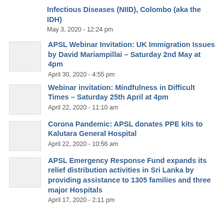Infectious Diseases (NIID), Colombo (aka the IDH)
May 3, 2020 - 12:24 pm
APSL Webinar Invitation: UK Immigration Issues by David Mariampillai – Saturday 2nd May at 4pm
April 30, 2020 - 4:55 pm
Webinar invitation: Mindfulness in Difficult Times – Saturday 25th April at 4pm
April 22, 2020 - 11:10 am
Corona Pandemic: APSL donates PPE kits to Kalutara General Hospital
April 22, 2020 - 10:56 am
APSL Emergency Response Fund expands its relief distribution activities in Sri Lanka by providing assistance to 1305 families and three major Hospitals
April 17, 2020 - 2:11 pm